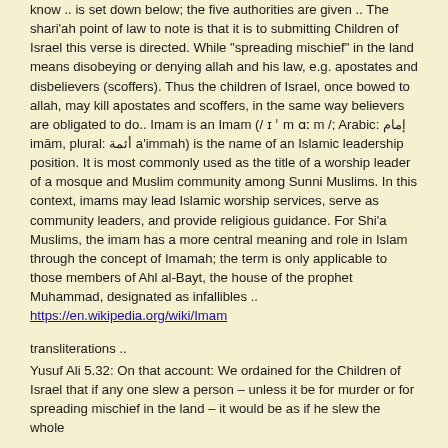know .. is set down below; the five authorities are given .. The shari'ah point of law to note is that it is to submitting Children of Israel this verse is directed. While "spreading mischief" in the land means disobeying or denying allah and his law, e.g. apostates and disbelievers (scoffers). Thus the children of Israel, once bowed to allah, may kill apostates and scoffers, in the same way believers are obligated to do.. Imam is an Imam (/ ɪ ˈ m ɑː m /; Arabic: إمام imām, plural: أئمة a'immah) is the name of an Islamic leadership position. It is most commonly used as the title of a worship leader of a mosque and Muslim community among Sunni Muslims. In this context, imams may lead Islamic worship services, serve as community leaders, and provide religious guidance. For Shi'a Muslims, the imam has a more central meaning and role in Islam through the concept of Imamah; the term is only applicable to those members of Ahl al-Bayt, the house of the prophet Muhammad, designated as infallibles .. https://en.wikipedia.org/wiki/Imam
transliterations ..
Yusuf Ali 5.32: On that account: We ordained for the Children of Israel that if any one slew a person – unless it be for murder or for spreading mischief in the land – it would be as if he slew the whole